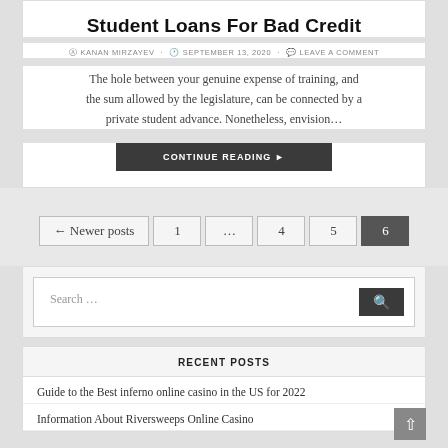Student Loans For Bad Credit
KANAN MIRZAYEV · SEPTEMBER 13, 2020 · LEAVE A COMMENT
The hole between your genuine expense of training, and the sum allowed by the legislature, can be connected by a private student advance. Nonetheless, envision...
CONTINUE READING ▶
← Newer posts  1  ...  4  5  6
Search …
RECENT POSTS
Guide to the Best inferno online casino in the US for 2022
Information About Riversweeps Online Casino